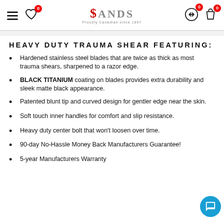Sands — Proudly Canadian since 1897 — navigation header with hamburger, heart, logo, swap, bag icons
HEAVY DUTY TRAUMA SHEAR FEATURING:
Hardened stainless steel blades that are twice as thick as most trauma shears, sharpened to a razor edge.
BLACK TITANIUM coating on blades provides extra durability and sleek matte black appearance.
Patented blunt tip and curved design for gentler edge near the skin.
Soft touch inner handles for comfort and slip resistance.
Heavy duty center bolt that won't loosen over time.
90-day No-Hassle Money Back Manufacturers Guarantee!
5-year Manufacturers Warranty